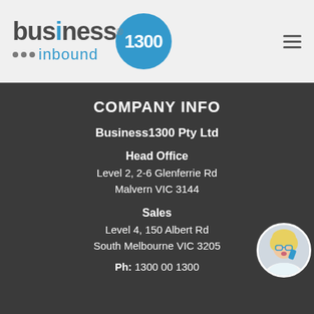[Figure (logo): Business1300 inbound logo with teal circle containing '1300' text]
COMPANY INFO
Business1300 Pty Ltd
Head Office
Level 2, 2-6 Glenferrie Rd
Malvern VIC 3144
Sales
Level 4, 150 Albert Rd
South Melbourne VIC 3205
Ph: 1300 00 1300
[Figure (photo): Woman with glasses on phone, circular crop]